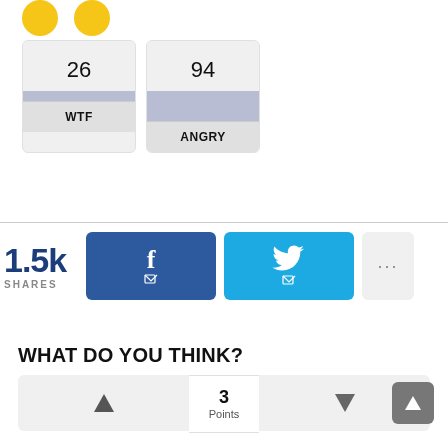[Figure (infographic): Two reaction cards showing WTF (26) and ANGRY (94) counts with bar indicators and labels]
1.5k SHARES
[Figure (infographic): Social share buttons: Facebook (f), Twitter (bird icon), and more (...)]
WHAT DO YOU THINK?
[Figure (infographic): Vote widget: up arrow, 3 Points, down arrow, scroll-to-top button]